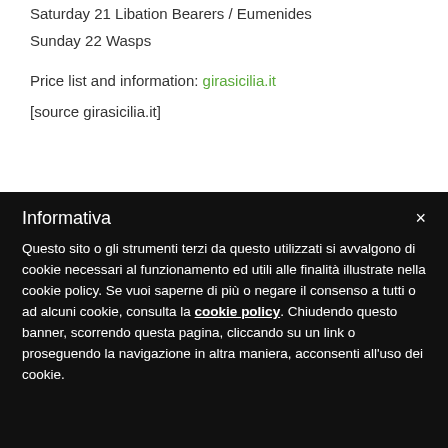Saturday 21 Libation Bearers / Eumenides
Sunday 22 Wasps
Price list and information: girasicilia.it
[source girasicilia.it]
Informativa
Questo sito o gli strumenti terzi da questo utilizzati si avvalgono di cookie necessari al funzionamento ed utili alle finalità illustrate nella cookie policy. Se vuoi saperne di più o negare il consenso a tutti o ad alcuni cookie, consulta la cookie policy. Chiudendo questo banner, scorrendo questa pagina, cliccando su un link o proseguendo la navigazione in altra maniera, acconsenti all'uso dei cookie.